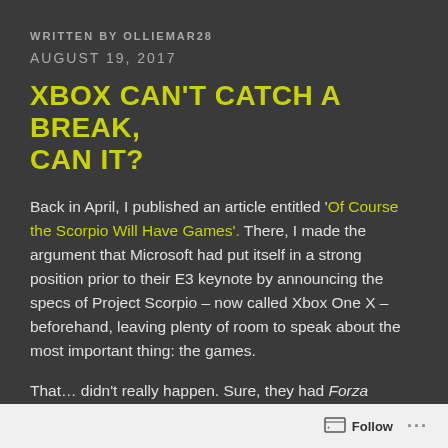WRITTEN BY OLLIEMAR28
AUGUST 19, 2017
XBOX CAN'T CATCH A BREAK, CAN IT?
Back in April, I published an article entitled 'Of Course the Scorpio Will Have Games'. There, I made the argument that Microsoft had put itself in a strong position prior to their E3 keynote by announcing the specs of Project Scorpio – now called Xbox One X – beforehand, leaving plenty of room to speak about the most important thing: the games.
That… didn't really happen. Sure, they had Forza Motorsport 7 – but that was largely expected, and to
Follow ...